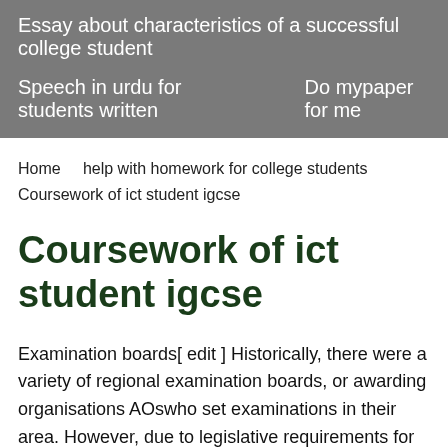Essay about characteristics of a successful college student
Speech in urdu for students written    Do mypaper for me
Home    help with homework for college students    Coursework of ict student igcse
Coursework of ict student igcse
Examination boards[ edit ] Historically, there were a variety of regional examination boards, or awarding organisations AOswho set examinations in their area. However, due to legislative requirements for comparability between GCSEs in the three countries, and allowances for certain subjects and qualifications to be available in Wales and Northern